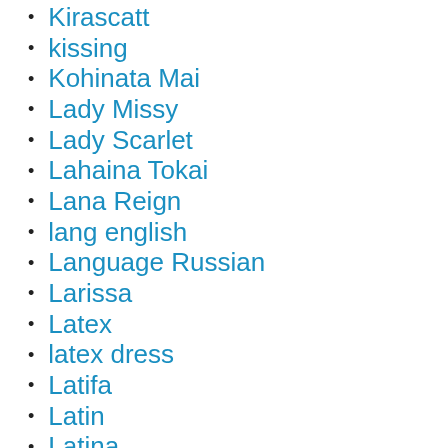Kirascatt
kissing
Kohinata Mai
Lady Missy
Lady Scarlet
Lahaina Tokai
Lana Reign
lang english
Language Russian
Larissa
Latex
latex dress
Latifa
Latin
Latina
Latina Girl
latina girl...